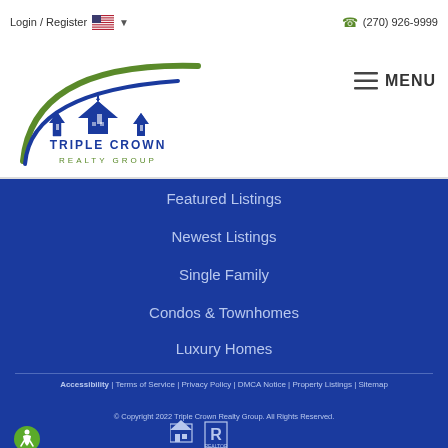Login / Register | (270) 926-9999
[Figure (logo): Triple Crown Realty Group logo with blue and green swoosh, house icons, and company name]
MENU
Featured Listings
Newest Listings
Single Family
Condos & Townhomes
Luxury Homes
Accessibility | Terms of Service | Privacy Policy | DMCA Notice | Property Listings | Sitemap
© Copyright 2022 Triple Crown Realty Group. All Rights Reserved.
[Figure (logo): Equal Housing Opportunity and Realtor logos at bottom]